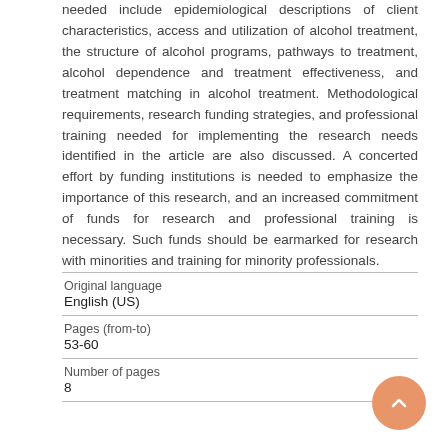needed include epidemiological descriptions of client characteristics, access and utilization of alcohol treatment, the structure of alcohol programs, pathways to treatment, alcohol dependence and treatment effectiveness, and treatment matching in alcohol treatment. Methodological requirements, research funding strategies, and professional training needed for implementing the research needs identified in the article are also discussed. A concerted effort by funding institutions is needed to emphasize the importance of this research, and an increased commitment of funds for research and professional training is necessary. Such funds should be earmarked for research with minorities and training for minority professionals.
| Original language | English (US) |
| Pages (from-to) | 53-60 |
| Number of pages | 8 |